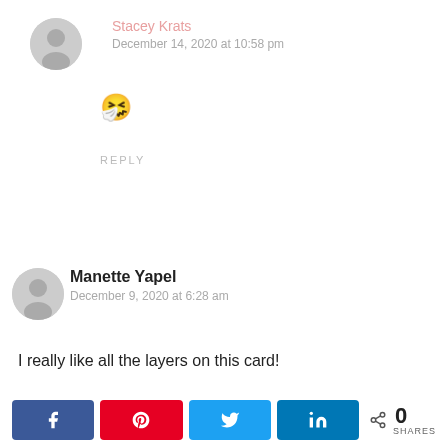Stacey Krats
December 14, 2020 at 10:58 pm
🤧
REPLY
Manette Yapel
December 9, 2020 at 6:28 am
I really like all the layers on this card!
0 SHARES